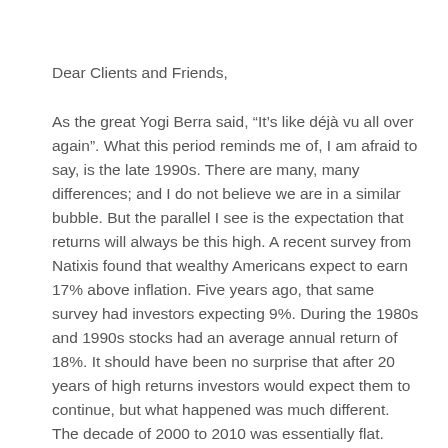Dear Clients and Friends,
As the great Yogi Berra said, “It’s like déjà vu all over again”. What this period reminds me of, I am afraid to say, is the late 1990s. There are many, many differences; and I do not believe we are in a similar bubble. But the parallel I see is the expectation that returns will always be this high. A recent survey from Natixis found that wealthy Americans expect to earn 17% above inflation. Five years ago, that same survey had investors expecting 9%. During the 1980s and 1990s stocks had an average annual return of 18%. It should have been no surprise that after 20 years of high returns investors would expect them to continue, but what happened was much different. The decade of 2000 to 2010 was essentially flat.